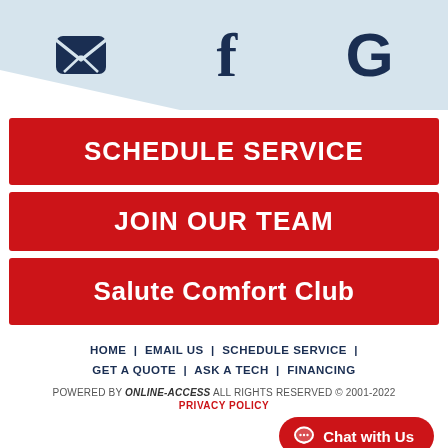[Figure (infographic): Top icon bar with envelope (email), Facebook 'f', and Google 'G' icons on light blue background]
SCHEDULE SERVICE
JOIN OUR TEAM
Salute Comfort Club
HOME | EMAIL US | SCHEDULE SERVICE | GET A QUOTE | ASK A TECH | FINANCING
POWERED BY ONLINE-ACCESS ALL RIGHTS RESERVED © 2001-2022
PRIVACY POLICY
Chat with Us